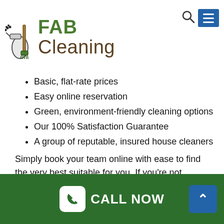[Figure (logo): FAB Cleaning logo with cleaning equipment icon, green FAB text and brown Cleaning text]
Basic, flat-rate prices
Easy online reservation
Green, environment-friendly cleaning options
Our 100% Satisfaction Guarantee
A group of reputable, insured house cleaners
Simply book your team online with ease to find the very best suitable for you. If you're not satisfied with the quality of your clean, we'll make it right – guaranteed!
# 1 End Of Lease And Pre Sale Cleaning Business Trusted In Clyde!
[Figure (infographic): Green footer bar with CALL NOW button and white phone icon, and blue up-arrow button]